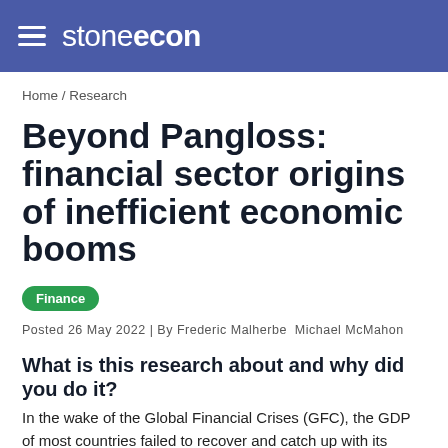stoneecon
Home / Research
Beyond Pangloss: financial sector origins of inefficient economic booms
Finance
Posted 26 May 2022 | By Frederic Malherbe  Michael McMahon
What is this research about and why did you do it?
In the wake of the Global Financial Crises (GFC), the GDP of most countries failed to recover and catch up with its